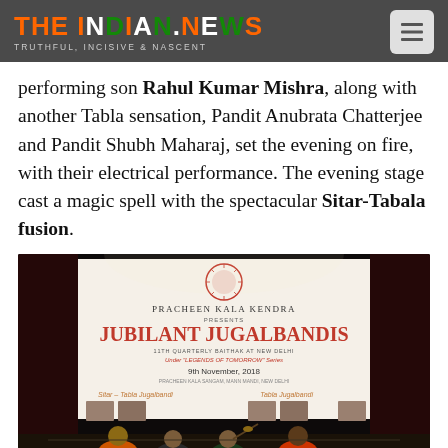THE INDIAN.NEWS — TRUTHFUL, INCISIVE & NASCENT
performing son Rahul Kumar Mishra, along with another Tabla sensation, Pandit Anubrata Chatterjee and Pandit Shubh Maharaj, set the evening on fire, with their electrical performance. The evening stage cast a magic spell with the spectacular Sitar-Tabala fusion.
[Figure (photo): Performance photo at Pracheen Kala Kendra event — Jubilant Jugalbandis, 11th Quarterly Baithak at New Delhi, Under 'Legends of Tomorrow' Series, 9th November 2018. Shows musicians performing Sitar-Tabla Jugalbandi on stage.]